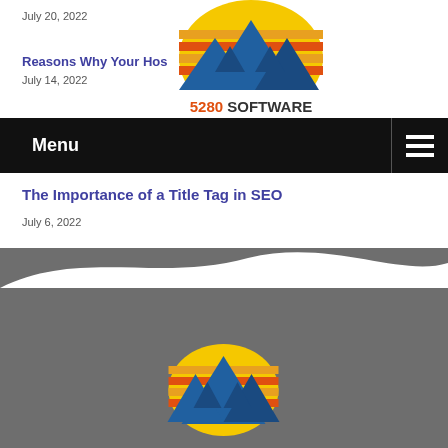July 20, 2022
Reasons Why Your Hos…
July 14, 2022
[Figure (logo): 5280 Software logo with mountain silhouette and sun stripes]
Menu
The Importance of a Title Tag in SEO
July 6, 2022
[Figure (illustration): Gray wave divider background section with 5280 Software logo at bottom]